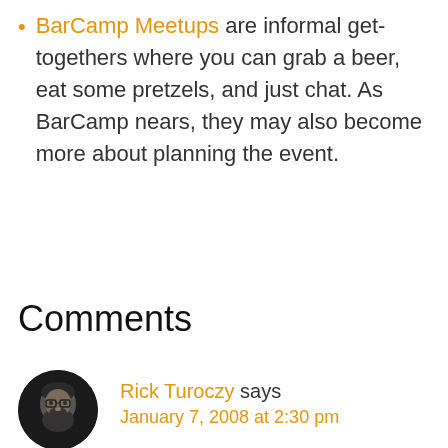BarCamp Meetups are informal get-togethers where you can grab a beer, eat some pretzels, and just chat. As BarCamp nears, they may also become more about planning the event.
Comments
Rick Turoczy says January 7, 2008 at 2:30 pm